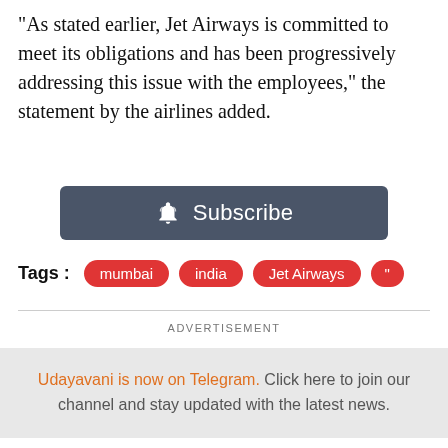“As stated earlier, Jet Airways is committed to meet its obligations and has been progressively addressing this issue with the employees,” the statement by the airlines added.
[Figure (other): Subscribe button with bell icon on dark gray background]
Tags : mumbai  india  Jet Airways  "
ADVERTISEMENT
Udayavani is now on Telegram. Click here to join our channel and stay updated with the latest news.